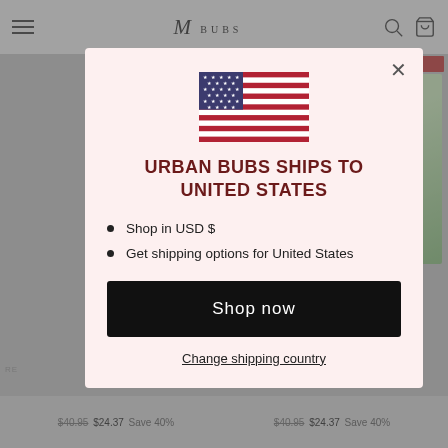[Figure (screenshot): E-commerce website background showing navigation bar with hamburger menu, brand logo 'M BUBS', shopping bag and search icons, a product thumbnail with Sale badge, and price rows at the bottom showing $40.95 $24.37 Save 40%]
[Figure (infographic): Modal popup dialog on pink/blush background showing US flag, heading 'URBAN BUBS SHIPS TO UNITED STATES', bullet points for USD and shipping, a Shop now button, and Change shipping country link]
URBAN BUBS SHIPS TO UNITED STATES
Shop in USD $
Get shipping options for United States
Shop now
Change shipping country